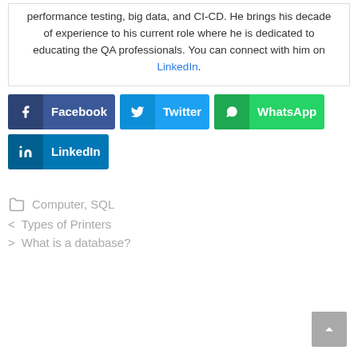performance testing, big data, and CI-CD. He brings his decade of experience to his current role where he is dedicated to educating the QA professionals. You can connect with him on LinkedIn.
[Figure (other): Social share buttons: Facebook, Twitter, WhatsApp, LinkedIn]
Computer, SQL
< Types of Printers
> What is a database?